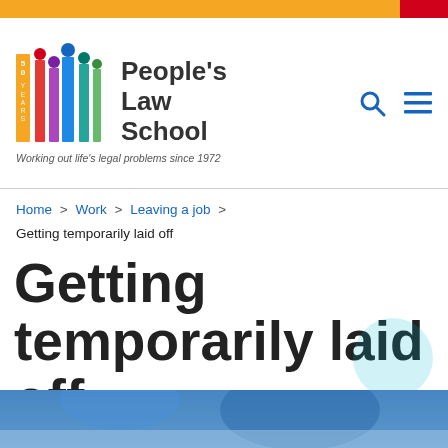[Figure (logo): People's Law School logo with colored bar chart icons and '50 years' text, tagline: Working out life's legal problems since 1972]
Home > Work > Leaving a job > Getting temporarily laid off
Getting temporarily laid off
[Figure (photo): Photo of people, partially visible at the bottom of the page]